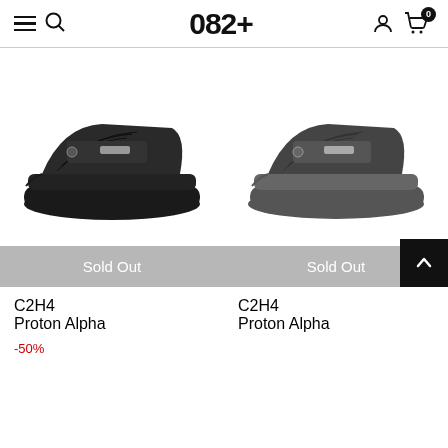082+
[Figure (photo): Black C2H4 Proton Alpha slide sandal shown from the side against white background, with wide velcro strap and chunky sole]
Sold Out
C2H4
Proton Alpha
-50%
[Figure (photo): Dark grey C2H4 Proton Alpha slide sandal shown from the side against white background, with wide strap and chunky sole]
Sold Out
C2H4
Proton Alpha